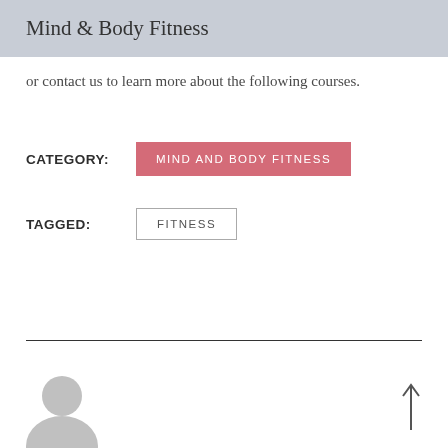Mind & Body Fitness
or contact us to learn more about the following courses.
CATEGORY:
MIND AND BODY FITNESS
TAGGED:
FITNESS
[Figure (illustration): User avatar silhouette — grey circular head shape at bottom left]
[Figure (illustration): Upward pointing arrow at bottom right]